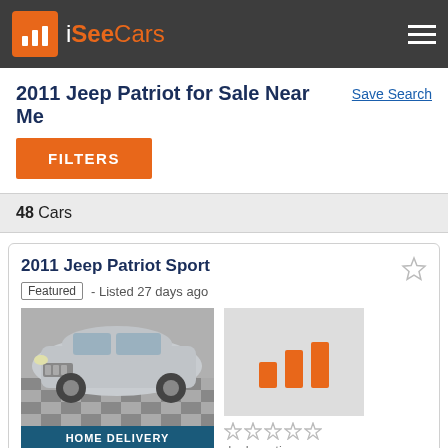iSeeCars
2011 Jeep Patriot for Sale Near Me
Save Search
FILTERS
48 Cars
2011 Jeep Patriot Sport
Featured - Listed 27 days ago
[Figure (photo): Silver 2011 Jeep Patriot Sport SUV parked on checkered floor with HOME DELIVERY label]
[Figure (logo): iSeeCars orange bar chart logo placeholder with dealer rating stars]
dealer rating
2011 Jeep Patriot Latitude